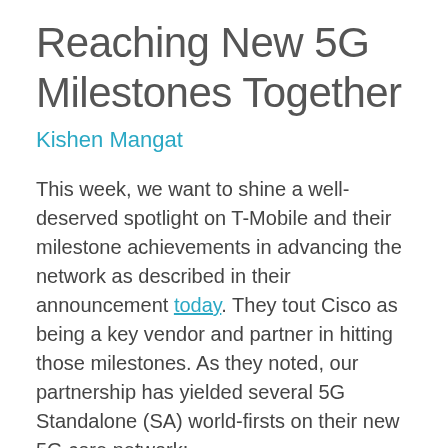Reaching New 5G Milestones Together
Kishen Mangat
This week, we want to shine a well-deserved spotlight on T-Mobile and their milestone achievements in advancing the network as described in their announcement today. They tout Cisco as being a key vendor and partner in hitting those milestones. As they noted, our partnership has yielded several 5G Standalone (SA) world-firsts on their new 5G core network:
First data session on a production network
First data session in the field with a commercial modem